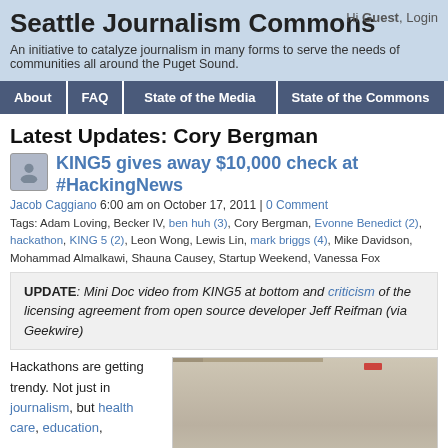Seattle Journalism Commons
An initiative to catalyze journalism in many forms to serve the needs of communities all around the Puget Sound.
About | FAQ | State of the Media | State of the Commons
Latest Updates: Cory Bergman
KING5 gives away $10,000 check at #HackingNews
Jacob Caggiano 6:00 am on October 17, 2011 | 0 Comment
Tags: Adam Loving, Becker IV, ben huh (3), Cory Bergman, Evonne Benedict (2), hackathon, KING 5 (2), Leon Wong, Lewis Lin, mark briggs (4), Mike Davidson, Mohammad Almalkawi, Shauna Causey, Startup Weekend, Vanessa Fox
UPDATE: Mini Doc video from KING5 at bottom and criticism of the licensing agreement from open source developer Jeff Reifman (via Geekwire)
Hackathons are getting trendy. Not just in journalism, but health care, education,
[Figure (screenshot): Partial screenshot of an image related to KING5 HackingNews event]